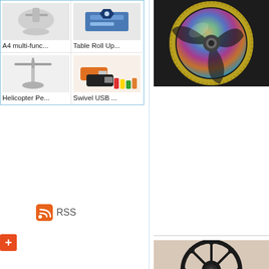[Figure (screenshot): Product grid showing 4 items in 2x2 layout: A4 multi-func..., Table Roll Up..., Helicopter Pe..., Swivel USB ..., all with thumbnail images, inside a light blue border box.]
[Figure (photo): RSS feed icon (orange with wifi waves) next to text 'RSS']
[Figure (other): Orange/red plus button (+)]
[Figure (photo): Close-up photo of a colorful rainbow metallic fidget spinner on dark background, top right of page]
[Figure (photo): Photo of a black ship-wheel / helm shaped fidget spinner held by fingers, bottom right of page]